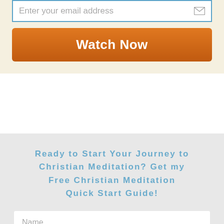[Figure (screenshot): Email input field with placeholder text 'Enter your email address' and an envelope icon on the right, inside a blue-bordered white box on a cream background]
[Figure (screenshot): Orange gradient 'Watch Now' button with white bold text]
Ready to Start Your Journey to Christian Meditation? Get my Free Christian Meditation Quick Start Guide!
[Figure (screenshot): White input field with placeholder text 'Name']